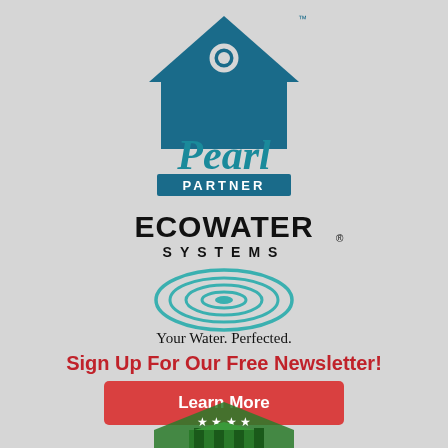[Figure (logo): Pearl Partner logo — house outline in dark teal/blue with circular window, 'Pearl' text in large teal italic font, blue rectangle banner reading 'PARTNER' in white]
[Figure (logo): EcoWater Systems logo — bold black sans-serif text 'ECOWATER SYSTEMS' with registered mark, oval ripple/swirl graphic in teal below, tagline 'Your Water. Perfected.' in black]
Sign Up For Our Free Newsletter!
Learn More
[Figure (logo): Partial green badge/medallion logo at bottom center, with stars and building graphic visible]